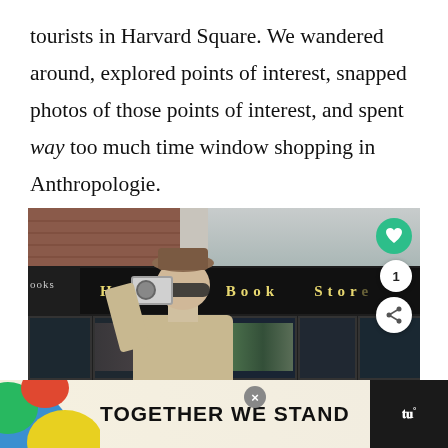tourists in Harvard Square. We wandered around, explored points of interest, snapped photos of those points of interest, and spent way too much time window shopping in Anthropologie.
[Figure (photo): A person wearing a beanie hat and sunglasses photographs the Harvard Book Store storefront from the street. The store sign reads 'Harvard Book Store' on a dark background. Social media interaction buttons (heart and share) are visible on the right side of the image.]
TOGETHER WE STAND